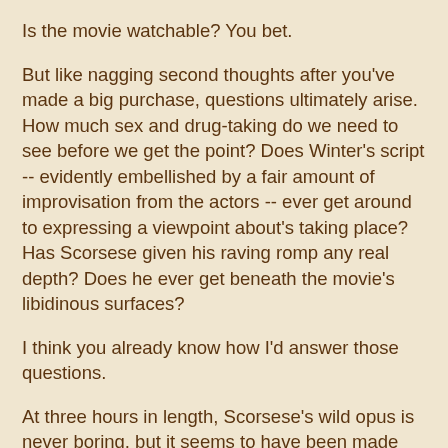Is the movie watchable? You bet.
But like nagging second thoughts after you've made a big purchase, questions ultimately arise. How much sex and drug-taking do we need to see before we get the point? Does Winter's script -- evidently embellished by a fair amount of improvisation from the actors -- ever get around to expressing a viewpoint about's taking place? Has Scorsese given his raving romp any real depth? Does he ever get beneath the movie's libidinous surfaces?
I think you already know how I'd answer those questions.
At three hours in length, Scorsese's wild opus is never boring, but it seems to have been made with the same kind of irrepressible smile you might see on faces at a reunion of aging, former frat brothers, all of them sitting around a bar, happily and a little too eagerly recalling the shameless excesses of yesteryear.
And one more thing: Let's say we're meant to be appalled by the cartoonish carnality of Belfort and his wild-living bunch. Would it have been better if they had used their ill-gotten